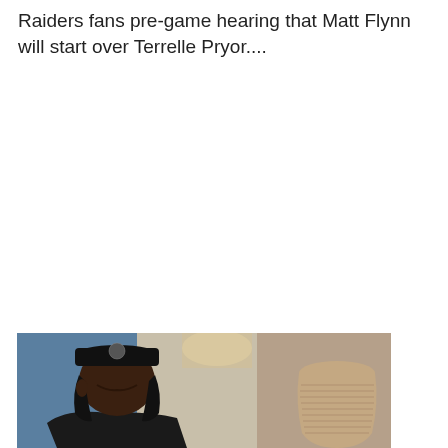Raiders fans pre-game hearing that Matt Flynn will start over Terrelle Pryor....
[Figure (photo): A man wearing a black cap looking downward, with a large terracotta/clay vase visible in the background and a blue wall, photographed in what appears to be an indoor setting.]